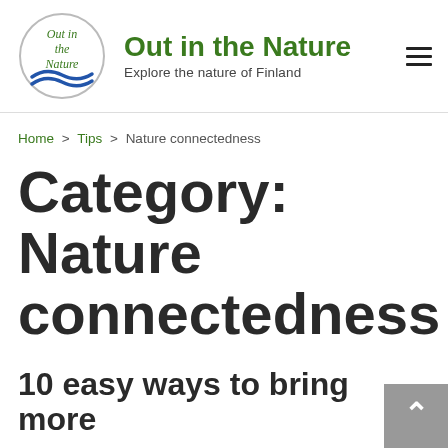[Figure (logo): Circular logo with text 'Out in the Nature' and a blue wave graphic at the bottom]
Out in the Nature
Explore the nature of Finland
Home > Tips > Nature connectedness
Category: Nature connectedness
10 easy ways to bring more